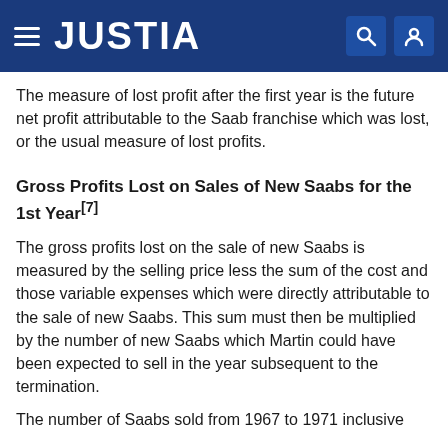JUSTIA
The measure of lost profit after the first year is the future net profit attributable to the Saab franchise which was lost, or the usual measure of lost profits.
Gross Profits Lost on Sales of New Saabs for the 1st Year[7]
The gross profits lost on the sale of new Saabs is measured by the selling price less the sum of the cost and those variable expenses which were directly attributable to the sale of new Saabs. This sum must then be multiplied by the number of new Saabs which Martin could have been expected to sell in the year subsequent to the termination.
The number of Saabs sold from 1967 to 1971 inclusive